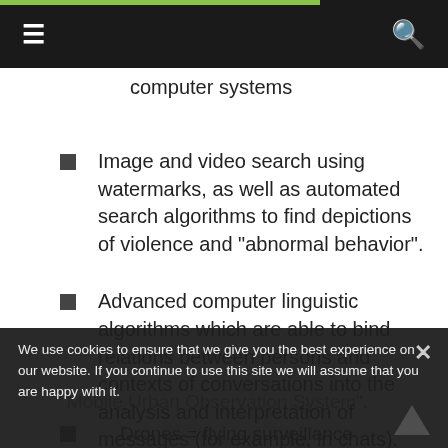≡  [navigation]  🔍
…programming computer systems
Image and video search using watermarks, as well as automated search algorithms to find depictions of violence and "abnormal behavior".
Advanced computer linguistic algorithms which are able to bind relations between persons and contexts of conversations into the analysis and interpretation of messages (for example, in chats).
On the streets
"Mobile Urban Observation System".
Drones = flying surveillance cameras (so-called "Unmanned Aerial Vehicles or UAVs, for example the Quadrocopter)
We use cookies to ensure that we give you the best experience on our website. If you continue to use this site we will assume that you are happy with it.